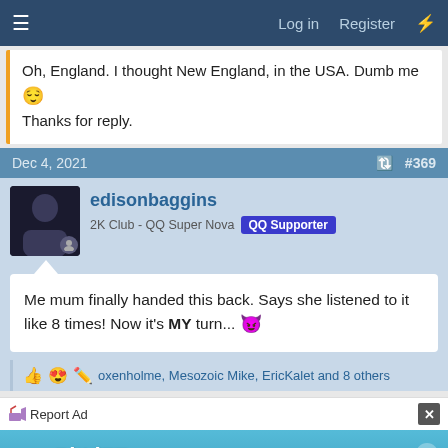Log in  Register
Oh, England. I thought New England, in the USA. Dumb me 😌
Thanks for reply.
Dec 4, 2021  #369
edisonbaggins
2K Club - QQ Super Nova  QQ Supporter
Me mum finally handed this back. Says she listened to it like 8 times! Now it's MY turn... 😈
oxenholme, Mesozoic Mike, EricKalet and 8 others
Report Ad
[Figure (screenshot): BitLife advertisement banner - NOW WITH GOD MODE]